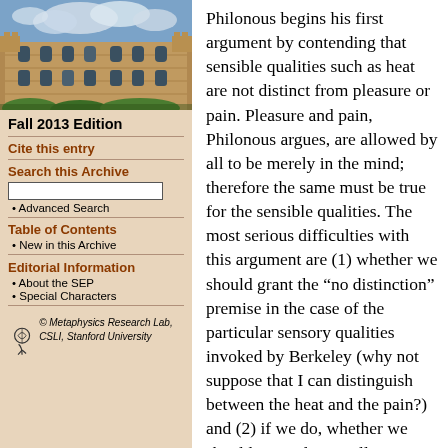[Figure (photo): Photograph of a gothic university building with stone architecture and cloudy sky]
Fall 2013 Edition
Cite this entry
Search this Archive
• Advanced Search
Table of Contents
• New in this Archive
Editorial Information
• About the SEP
• Special Characters
© Metaphysics Research Lab, CSLI, Stanford University
Philonous begins his first argument by contending that sensible qualities such as heat are not distinct from pleasure or pain. Pleasure and pain, Philonous argues, are allowed by all to be merely in the mind; therefore the same must be true for the sensible qualities. The most serious difficulties with this argument are (1) whether we should grant the “no distinction” premise in the case of the particular sensory qualities invoked by Berkeley (why not suppose that I can distinguish between the heat and the pain?) and (2) if we do, whether we should generalize to all sensory qualities as Berkeley